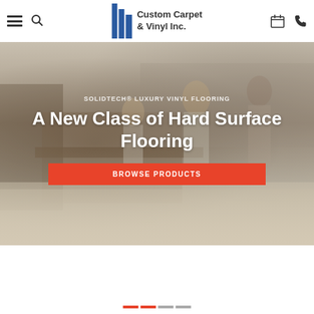Custom Carpet & Vinyl Inc.
SOLIDTECH® LUXURY VINYL FLOORING
A New Class of Hard Surface Flooring
BROWSE PRODUCTS
[Figure (photo): Family with children dancing and playing in a modern kitchen/dining room with light wood luxury vinyl flooring installed]